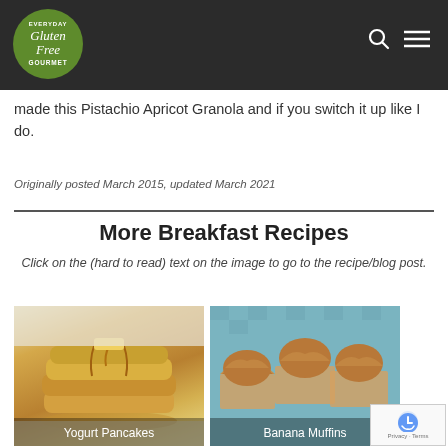[Figure (logo): Everyday Gluten Free Gourmet circular green logo in dark header bar with search and menu icons]
made this Pistachio Apricot Granola and if you switch it up like I do.
Originally posted March 2015, updated March 2021
More Breakfast Recipes
Click on the (hard to read) text on the image to go to the recipe/blog post.
[Figure (photo): Photo of stacked yogurt pancakes with syrup, labeled Yogurt Pancakes]
[Figure (photo): Photo of banana muffins on blue checkered cloth, labeled Banana Muffins]